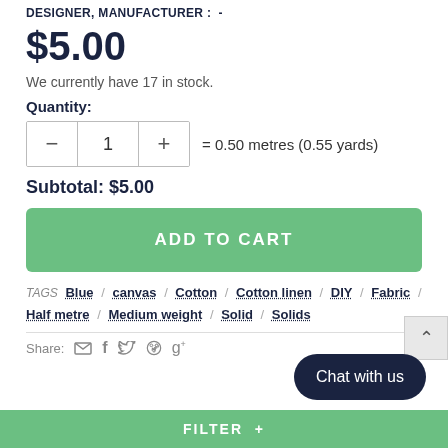DESIGNER, MANUFACTURER :  -
$5.00
We currently have 17 in stock.
Quantity:
= 0.50 metres (0.55 yards)
Subtotal: $5.00
ADD TO CART
TAGS  Blue / canvas / Cotton / Cotton linen / DIY / Fabric / Half metre / Medium weight / Solid / Solids
Share:
FILTER  +